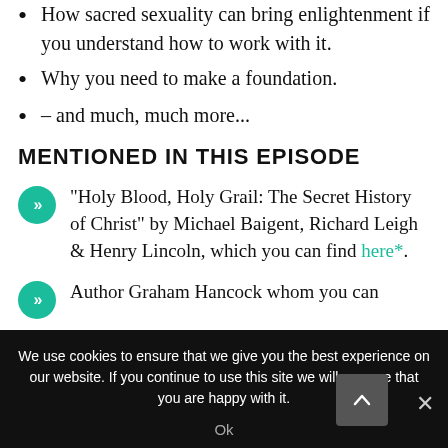How sacred sexuality can bring enlightenment if you understand how to work with it.
Why you need to make a foundation.
– and much, much more...
MENTIONED IN THIS EPISODE
"Holy Blood, Holy Grail: The Secret History of Christ" by Michael Baigent, Richard Leigh & Henry Lincoln, which you can find here*.
Author Graham Hancock whom you can
We use cookies to ensure that we give you the best experience on our website. If you continue to use this site we will assume that you are happy with it.
Ok